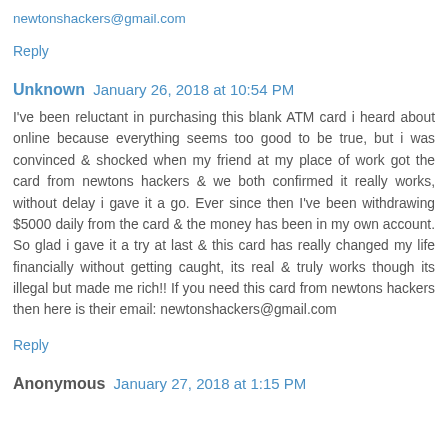newtonshackers@gmail.com
Reply
Unknown  January 26, 2018 at 10:54 PM
I've been reluctant in purchasing this blank ATM card i heard about online because everything seems too good to be true, but i was convinced & shocked when my friend at my place of work got the card from newtons hackers & we both confirmed it really works, without delay i gave it a go. Ever since then I've been withdrawing $5000 daily from the card & the money has been in my own account. So glad i gave it a try at last & this card has really changed my life financially without getting caught, its real & truly works though its illegal but made me rich!! If you need this card from newtons hackers then here is their email: newtonshackers@gmail.com
Reply
Anonymous  January 27, 2018 at 1:15 PM